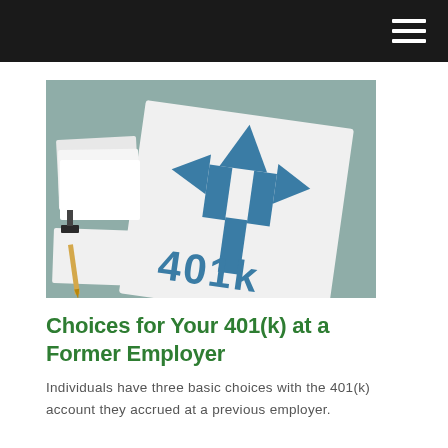[Figure (photo): Photo of stationery items on a teal/grey surface including white cards, a pencil, a binder clip, and a white card with a blue Y-shaped arrow icon and the text '401k' below it in blue.]
Choices for Your 401(k) at a Former Employer
Individuals have three basic choices with the 401(k) account they accrued at a previous employer.